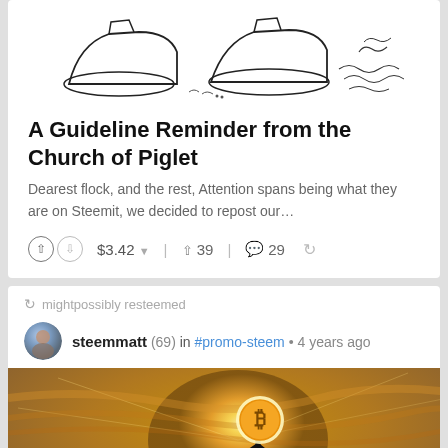[Figure (illustration): Hand-drawn illustration showing shoes/feet and abstract scribbles]
A Guideline Reminder from the Church of Piglet
Dearest flock, and the rest, Attention spans being what they are on Steemit, we decided to repost our...
$3.42  39  29
mightpossibly resteemed
steemmatt (69) in #promo-steem • 4 years ago
[Figure (photo): Dramatic sunset photo of two silhouetted climbers on a mountain peak, one helping the other up. A glowing Bitcoin symbol at the top, Steem logo in lower right.]